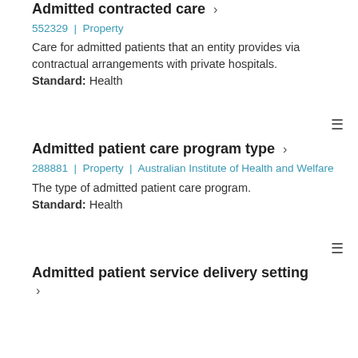Admitted contracted care ›
552329 | Property
Care for admitted patients that an entity provides via contractual arrangements with private hospitals. Standard: Health
Admitted patient care program type ›
288881 | Property | Australian Institute of Health and Welfare
The type of admitted patient care program. Standard: Health
Admitted patient service delivery setting ›